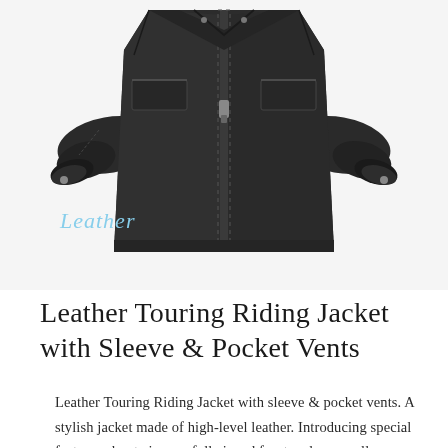[Figure (photo): Leather touring riding jacket shown laid flat on white background, dark brown/black leather with visible zipper, two sleeves spread out to the sides]
Leather
Leather Touring Riding Jacket with Sleeve & Pocket Vents
Leather Touring Riding Jacket with sleeve & pocket vents. A stylish jacket made of high-level leather. Introducing special features about zippers, full zipped front and snap collar. Specially designed professional lady bikers to provide super safety and sense of